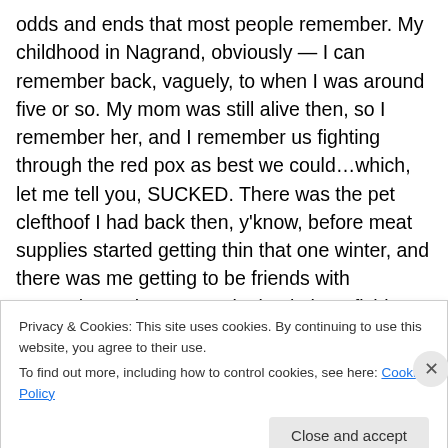odds and ends that most people remember.  My childhood in Nagrand, obviously — I can remember back, vaguely, to when I was around five or so.  My mom was still alive then, so I remember her, and I remember us fighting through the red pox as best we could…which, let me tell you, SUCKED.  There was the pet clefthoof I had back then, y'know, before meat supplies started getting thin that one winter, and there was me getting to be friends with Dranosh.  We hung out a lot back then, fishing and hunting and stuff — me and Dranosh and Jorin Deadeye, actually, back before Jorin turned out to be a dick.  Um…probably
Privacy & Cookies: This site uses cookies. By continuing to use this website, you agree to their use.
To find out more, including how to control cookies, see here: Cookie Policy